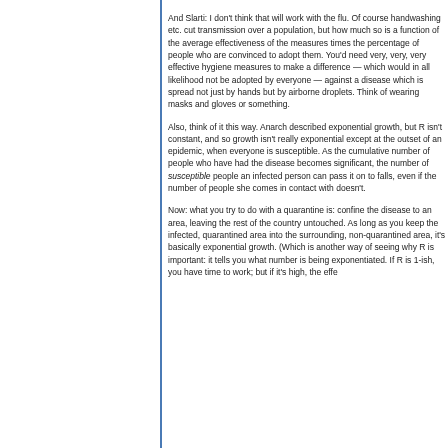And Slarti: I don't think that will work with the flu. Of course handwashing etc. cut transmission over a population, but how much so is a function of the average effectiveness of the measures times the percentage of people who are convinced to adopt them. You'd need very, very, very effective hygiene measures to make a difference — which would in all likelihood not be adopted by everyone — against a disease which is spread not just by hands but by airborne droplets. Think of wearing masks and gloves or something.
Also, think of it this way. Anarch described exponential growth, but R isn't constant, and so growth isn't really exponential except at the outset of an epidemic, when everyone is susceptible. As the cumulative number of people who have had the disease becomes significant, the number of susceptible people an infected person can pass it on to falls, even if the number of people she comes in contact with doesn't.
Now: what you try to do with a quarantine is: confine the disease to an area, leaving the rest of the country untouched. As long as you keep the infected, quarantined area into the surrounding, non-quarantined area, it's basically exponential growth. (Which is another way of seeing why R is important: it tells you what number is being exponentiated. If R is 1-ish, you have time to work; but if it's high, the effe